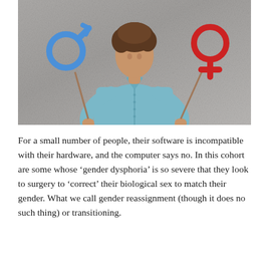[Figure (photo): A person wearing a light blue button-up shirt holding two gender symbol signs on sticks — a blue male (Mars) symbol on the left and a red female (Venus) symbol on the right — against a grey concrete wall background.]
For a small number of people, their software is incompatible with their hardware, and the computer says no. In this cohort are some whose ‘gender dysphoria’ is so severe that they look to surgery to ‘correct’ their biological sex to match their gender. What we call gender reassignment (though it does no such thing) or transitioning.